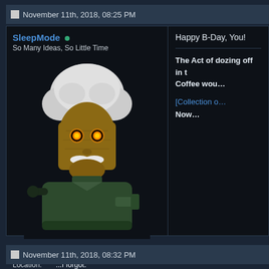November 11th, 2018, 08:25 PM
SleepMode • So Many Ideas, So Little Time
[Figure (illustration): Steampunk robot/android character with white wig, glowing orange eyes, mustache, and mechanical body holding a small object]
| Join Date: | Feb 2017 |
| Location: | ...I forgot. |
| Age: | 22 |
| Gender: | ♂ |
| Posts: | 1,324 |
| Blog Entries: | 1 |
Happy B-Day, You!
The Act of dozing off in t… Coffee wou…
[Collection o… Now…
November 11th, 2018, 08:32 PM